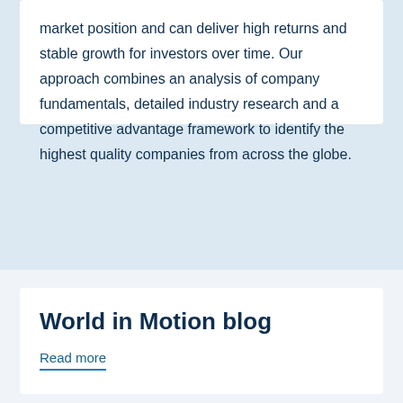market position and can deliver high returns and stable growth for investors over time. Our approach combines an analysis of company fundamentals, detailed industry research and a competitive advantage framework to identify the highest quality companies from across the globe.
World in Motion blog
Read more